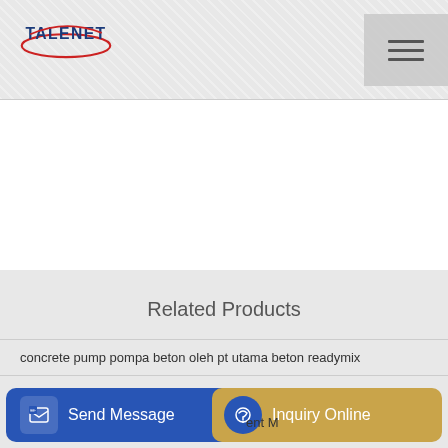[Figure (logo): TALENET company logo with red oval and blue text]
Related Products
concrete pump pompa beton oleh pt utama beton readymix
asphalt batch mix plant manufacturerasphalt drumming
Send Message
Inquiry Online